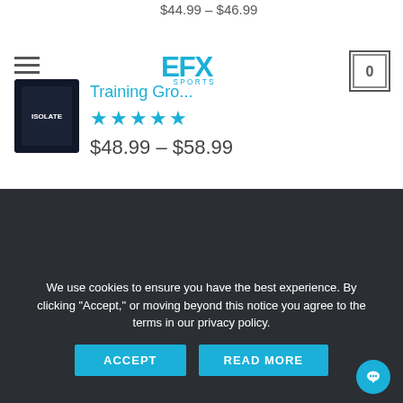$44.99 – $46.99
EFX Sports logo with hamburger menu and cart showing 0
Training Gro... [product name]
$48.99 – $58.99
ABOUT US
[Figure (illustration): US flag icon]
We use cookies to ensure you have the best experience. By clicking "Accept," or moving beyond this notice you agree to the terms in our privacy policy.